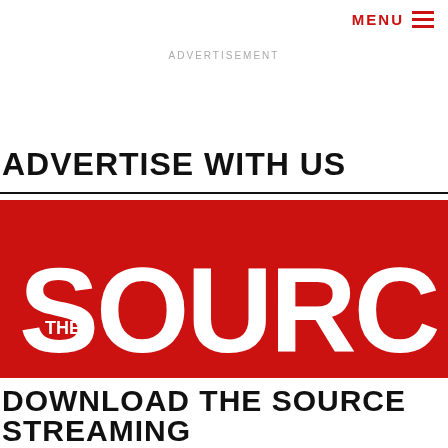MENU ≡
ADVERTISEMENT
ADVERTISE WITH US
[Figure (logo): The Source magazine logo — white text 'THE SOURCE' on red background]
DOWNLOAD THE SOURCE STREAMING